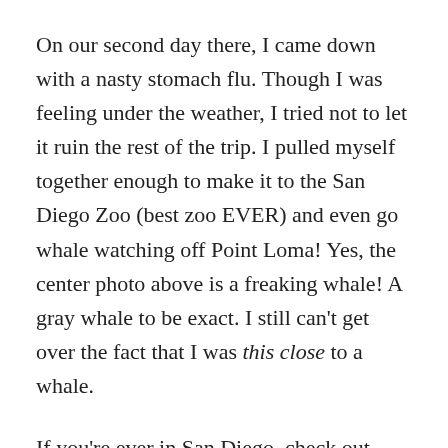On our second day there, I came down with a nasty stomach flu. Though I was feeling under the weather, I tried not to let it ruin the rest of the trip. I pulled myself together enough to make it to the San Diego Zoo (best zoo EVER) and even go whale watching off Point Loma! Yes, the center photo above is a freaking whale! A gray whale to be exact. I still can't get over the fact that I was this close to a whale.
If you're ever in San Diego, check out H&M Landing for whale watching excursions. They were reasonably priced, and even extended the tour by almost three hours to scout out the best whale